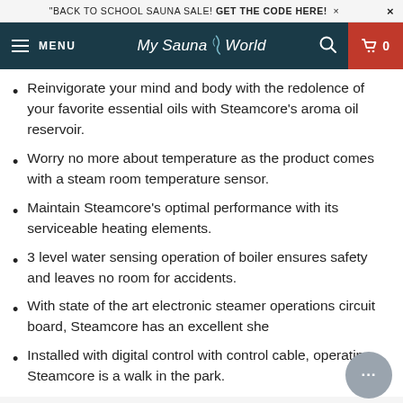"BACK TO SCHOOL SAUNA SALE! GET THE CODE HERE! ×
MENU | My Sauna World | 🔍 | 🛒 0
Reinvigorate your mind and body with the redolence of your favorite essential oils with Steamcore's aroma oil reservoir.
Worry no more about temperature as the product comes with a steam room temperature sensor.
Maintain Steamcore's optimal performance with its serviceable heating elements.
3 level water sensing operation of boiler ensures safety and leaves no room for accidents.
With state of the art electronic steamer operations circuit board, Steamcore has an excellent she[lf life].
Installed with digital control with control cable, operating Steamcore is a walk in the park.